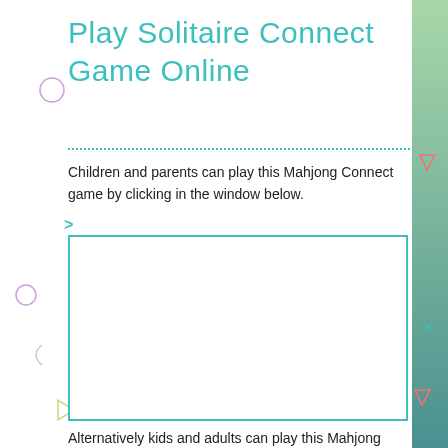Play Solitaire Connect Game Online
Children and parents can play this Mahjong Connect game by clicking in the window below.
[Figure (other): Empty game window placeholder with teal border]
Alternatively kids and adults can play this Mahjong